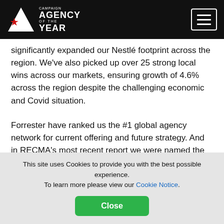campaign AGENCY OF THE YEAR
significantly expanded our Nestlé footprint across the region. We've also picked up over 25 strong local wins across our markets, ensuring growth of 4.6% across the region despite the challenging economic and Covid situation.
Forrester have ranked us the #1 global agency network for current offering and future strategy. And in RECMA's most recent report we were named the #1 agency network for growth in activity volume across EMEA.
When the world changed, we were ready to.
This site uses Cookies to provide you with the best possible experience. To learn more please view our Cookie Notice.